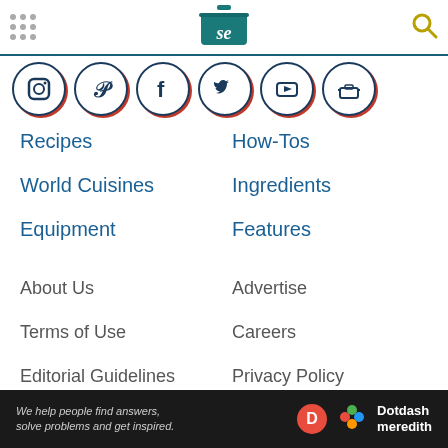Serious Eats navigation header with logo and search
[Figure (logo): Serious Eats logo - teal pot/cooker icon with 'se' text]
[Figure (infographic): Social media icons row: Instagram, Pinterest, Facebook, Twitter, YouTube, and another icon - circular with dark blue border]
Recipes
How-Tos
World Cuisines
Ingredients
Equipment
Features
About Us
Advertise
Terms of Use
Careers
Editorial Guidelines
Privacy Policy
Cookies
Contact
[Figure (logo): TRUSTe Privacy Feedback badge - Powered by TRUSTe green button]
We help people find answers, solve problems and get inspired. Dotdash meredith